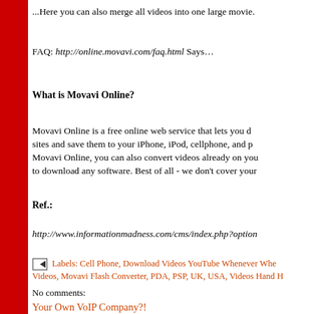...Here you can also merge all videos into one large movie.
FAQ: http://online.movavi.com/faq.html Says…
What is Movavi Online?
Movavi Online is a free online web service that lets you d... sites and save them to your iPhone, iPod, cellphone, and p... Movavi Online, you can also convert videos already on you... to download any software. Best of all - we don't cover your...
Ref.:
http://www.informationmadness.com/cms/index.php?option...
Labels: Cell Phone, Download Videos YouTube Whenever Whe... Videos, Movavi Flash Converter, PDA, PSP, UK, USA, Videos Hand H...
No comments:
Your Own VoIP Company?!